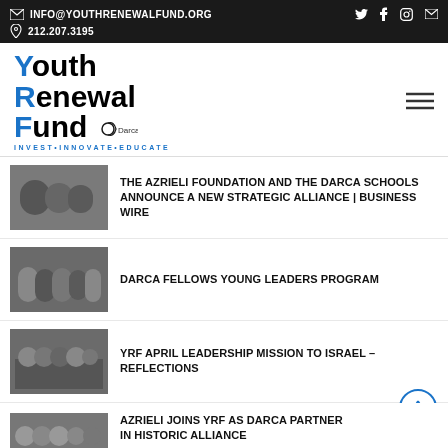INFO@YOUTHRENEWALFUND.ORG  212.207.3195
[Figure (logo): Youth Renewal Fund logo with Darca branding and tagline INVEST•INNOVATE•EDUCATE]
THE AZRIELI FOUNDATION AND THE DARCA SCHOOLS ANNOUNCE A NEW STRATEGIC ALLIANCE | BUSINESS WIRE
DARCA FELLOWS YOUNG LEADERS PROGRAM
YRF APRIL LEADERSHIP MISSION TO ISRAEL – REFLECTIONS
AZRIELI JOINS YRF AS DARCA PARTNER IN HISTORIC ALLIANCE